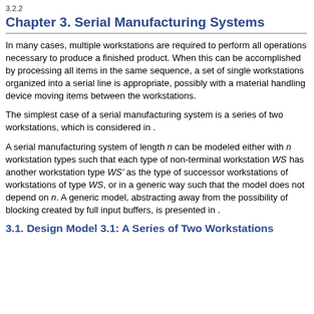3.2.2
Chapter 3. Serial Manufacturing Systems
In many cases, multiple workstations are required to perform all operations necessary to produce a finished product. When this can be accomplished by processing all items in the same sequence, a set of single workstations organized into a serial line is appropriate, possibly with a material handling device moving items between the workstations.
The simplest case of a serial manufacturing system is a series of two workstations, which is considered in .
A serial manufacturing system of length n can be modeled either with n workstation types such that each type of non-terminal workstation WS has another workstation type WS' as the type of successor workstations of workstations of type WS, or in a generic way such that the model does not depend on n. A generic model, abstracting away from the possibility of blocking created by full input buffers, is presented in .
3.1. Design Model 3.1: A Series of Two Workstations